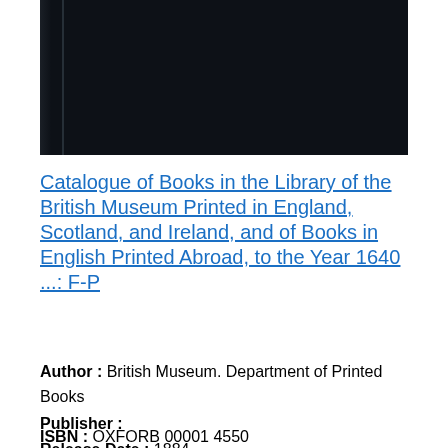[Figure (photo): Dark navy/black book cover with spine visible on the left side]
Catalogue of Books in the Library of the British Museum Printed in England, Scotland, and Ireland, and of Books in English Printed Abroad, to the Year 1640 ...: F-P
Author : British Museum. Department of Printed Books
Publisher :
Release Date : 1884
ISBN : OXFORB 00001 4550